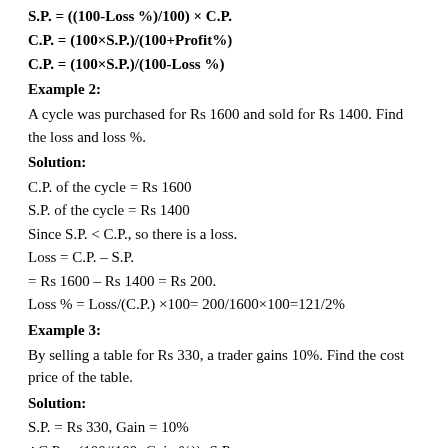Example 2:
A cycle was purchased for Rs 1600 and sold for Rs 1400. Find the loss and loss %.
Solution:
C.P. of the cycle = Rs 1600
S.P. of the cycle = Rs 1400
Since S.P. < C.P., so there is a loss.
Loss = C.P. – S.P.
= Rs 1600 – Rs 1400 = Rs 200.
Loss % = Loss/(C.P.) ×100= 200/1600×100=121/2%
Example 3:
By selling a table for Rs 330, a trader gains 10%. Find the cost price of the table.
Solution:
S.P. = Rs 330, Gain = 10%
∴C.P. = (100/(100+Gain %))×S.P.
=Rs 100/(100+10)×330
=100/110×330=Rs 300